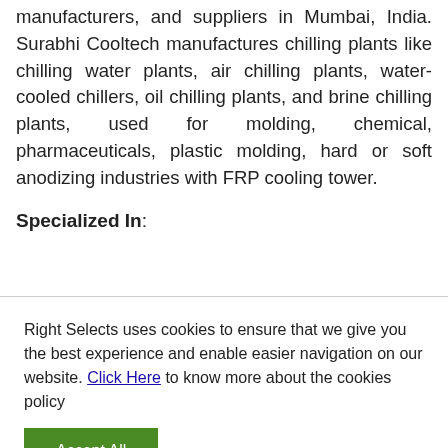manufacturers, and suppliers in Mumbai, India. Surabhi Cooltech manufactures chilling plants like chilling water plants, air chilling plants, water-cooled chillers, oil chilling plants, and brine chilling plants, used for molding, chemical, pharmaceuticals, plastic molding, hard or soft anodizing industries with FRP cooling tower.
Specialized In:
Right Selects uses cookies to ensure that we give you the best experience and enable easier navigation on our website. Click Here to know more about the cookies policy
Accept All